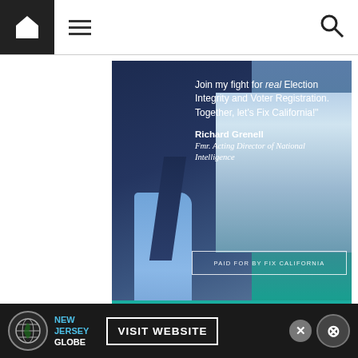[Figure (screenshot): Website navigation bar with home icon (black square), hamburger menu icon, and search icon]
[Figure (photo): Fix California political ad featuring Richard Grenell, Fmr. Acting Director of National Intelligence, with text 'Join my fight for real Election Integrity and Voter Registration. Together, let’s Fix California!' and a 'LEARN MORE' button. Paid for by Fix California.]
EDITOR: KATY GRIMES, KATY@CALIFORNIAGLOBE.COM
REPORTER: EVAN SYMON, EVAN@CALIFORNIAGLOBE.COM
GENERAL MANAGER & ADVERTISING: KEVIN SANDERS,
[Figure (screenshot): New Jersey Globe advertisement banner with globe logo, 'VISIT WEBSITE' button, and close buttons]